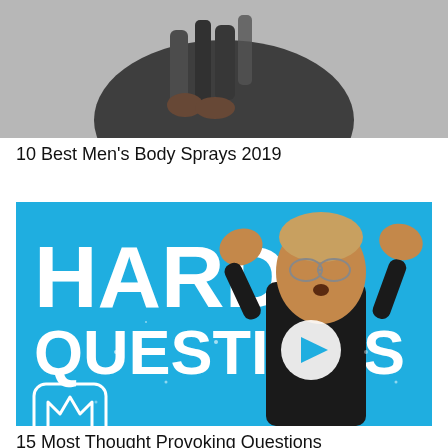[Figure (photo): A man in a dark blazer holding multiple spray cans/bottles against a grey background]
10 Best Men's Body Sprays 2019
[Figure (photo): Video thumbnail with blue background showing text 'HARD QUESTIONS' with a play button icon and a crown logo, alongside a surprised man with glasses raising his hands]
15 Most Thought Provoking Questions
[Figure (photo): Graffiti art in black and white showing stylized letters]